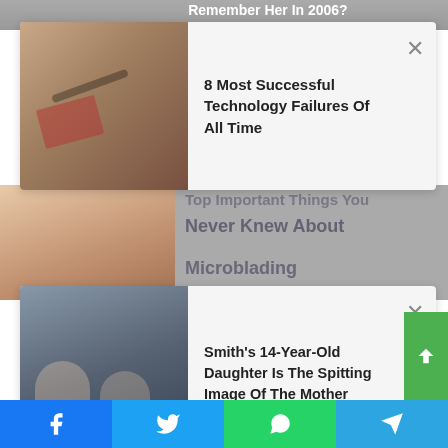[Figure (screenshot): Top image banner partially visible with text 'Remember Her In 2006?']
[Figure (screenshot): Ad card overlay showing thumbnail image with text '8 Most Successful Technology Failures Of All Time' and close button]
[Figure (screenshot): Behind first ad: article image and partial text 'Top Important Things You Never Knew About Microblading']
[Figure (screenshot): Ad card overlay showing thumbnail of two people with text 'Smith's 14-Year-Old Daughter Is The Spitting Image Of The Mother' and close button]
latest two-day policy meeting the economy was strong and officials would hike rates more aggressively at future meetings if needed to control inflation.
“We think about every meeting being a live meeting,” Powell said in a news conference. “We will look at evolving conditions and if we conclude it would be appropriate to move faster to remove shelters then we will do so.”
[Figure (screenshot): Green scroll-up button on right side]
[Figure (screenshot): Social share bar with Facebook, Twitter, WhatsApp, and Telegram buttons]